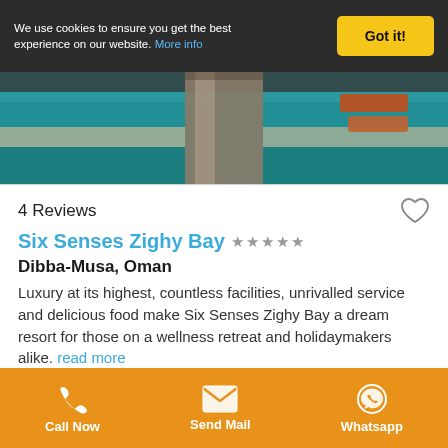We use cookies to ensure you get the best experience on our website. More info  Got it!
[Figure (photo): Aerial view of a luxury resort pool area with stone pillar, turquoise water, and sun loungers]
4 Reviews
Six Senses Zighy Bay ★★★★★
Dibba-Musa, Oman
Luxury at its highest, countless facilities, unrivalled service and delicious food make Six Senses Zighy Bay a dream resort for those on a wellness retreat and holidaymakers alike. read more
Pureandcure Benefits
Depending on your Holiday:
Call Now  Send Mail  Whatsapp